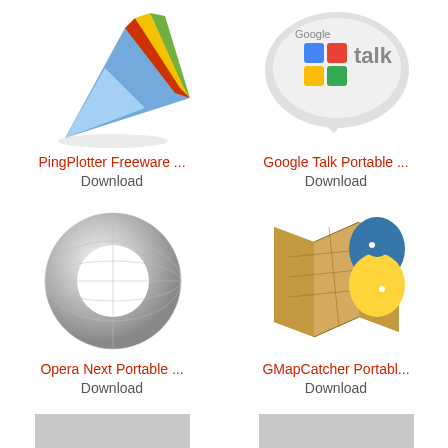[Figure (logo): PingPlotter Freeware app icon - colorful paper airplane with red, yellow, green, blue elements]
PingPlotter Freeware ...
Download
[Figure (logo): Google Talk Portable app icon - speech bubble with Google Talk logo]
Google Talk Portable ...
Download
[Figure (logo): Opera Next Portable app icon - silver/chrome O ring logo]
Opera Next Portable ...
Download
[Figure (logo): GMapCatcher Portable app icon - folded map with Python logo overlay]
GMapCatcher Portabl...
Download
[Figure (photo): Gray placeholder image (loading)]
[Figure (photo): Gray placeholder image (loading)]